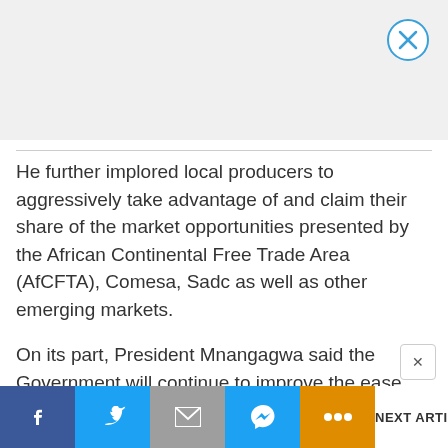[Figure (other): Advertisement banner area with close (X) button in top right corner]
He further implored local producers to aggressively take advantage of and claim their share of the market opportunities presented by the African Continental Free Trade Area (AfCFTA), Comesa, Sadc as well as other emerging markets.
On its part, President Mnangagwa said the Government will continue to improve the ease and cost of doing business.
NEXT ARTICLE >